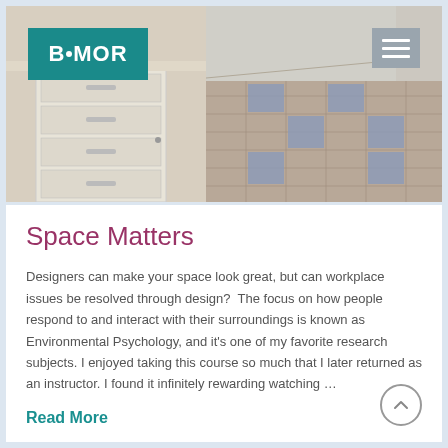[Figure (photo): Interior office space showing filing cabinets on left and a corridor with patterned carpet tiles (beige/tan with blue accent squares) extending to the right. A teal and white logo 'B|MOR' appears in the top-left corner, and a hamburger menu icon in the top-right corner.]
Space Matters
Designers can make your space look great, but can workplace issues be resolved through design?  The focus on how people respond to and interact with their surroundings is known as Environmental Psychology, and it's one of my favorite research subjects. I enjoyed taking this course so much that I later returned as an instructor. I found it infinitely rewarding watching …
Read More